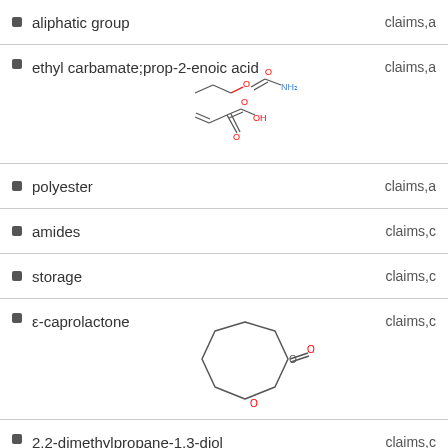aliphatic group — claims,a
ethyl carbamate;prop-2-enoic acid — claims,a
[Figure (illustration): Chemical structure of ethyl carbamate and prop-2-enoic acid showing ester and carbamate groups]
polyester — claims,a
amides — claims,c
storage — claims,c
ε-caprolactone — claims,c
[Figure (illustration): Chemical structure of ε-caprolactone showing 7-membered ring lactone]
2,2-dimethylpropane-1,3-diol — claims,c
[Figure (illustration): Chemical structure of 2,2-dimethylpropane-1,3-diol showing neopentyl diol with two OH groups]